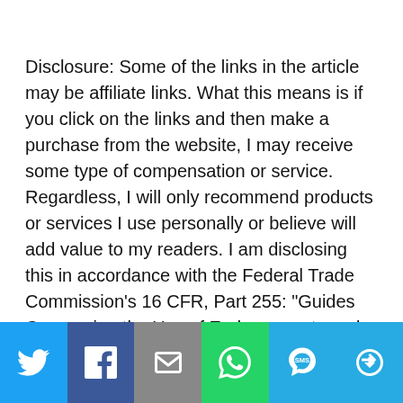Disclosure: Some of the links in the article may be affiliate links. What this means is if you click on the links and then make a purchase from the website, I may receive some type of compensation or service. Regardless, I will only recommend products or services I use personally or believe will add value to my readers. I am disclosing this in accordance with the Federal Trade Commission’s 16 CFR, Part 255: “Guides Concerning the Use of Endorsements and Testimonials in Advertising.”
[Figure (infographic): Social sharing bar with six buttons: Twitter (blue bird icon), Facebook (dark blue f icon), Email (grey envelope icon), WhatsApp (green phone icon), SMS (blue SMS speech bubble icon), More (blue circular arrows icon)]